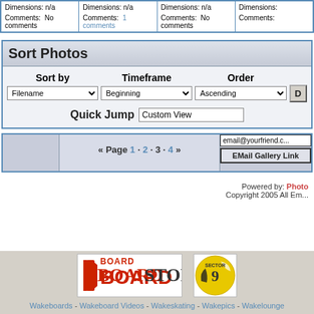|  |  |  |  |
| --- | --- | --- | --- |
| Dimensions: n/a | Dimensions: n/a | Dimensions: n/a | Dimensions: |
| Comments: No comments | Comments: 1 comments | Comments: No comments | Comments: |
Sort Photos
| Sort by | Timeframe | Order |  |
| --- | --- | --- | --- |
| Filename ▼ | Beginning ▼ | Ascending ▼ |  |
| Quick Jump | Custom View |  |  |
|  | « Page 1 · 2 · 3 · 4 » | email@yourfriend.c... / EMail Gallery Link |
| --- | --- | --- |
Powered by: Photo
Copyright 2005 All Em...
[Figure (logo): BoardStop logo - red and black text on white background]
[Figure (logo): Sector 9 billiard ball logo - yellow ball with number 9]
Wakeboards - Wakeboard Videos - Wakeskating - Wakepics - Wakelounge